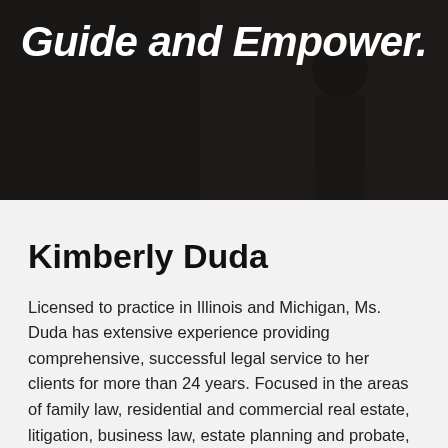[Figure (photo): Dark hero banner with a person in the background, overlaid with italic bold white text reading 'Guide and Empower.']
Guide and Empower.
Kimberly Duda
Licensed to practice in Illinois and Michigan, Ms. Duda has extensive experience providing comprehensive, successful legal service to her clients for more than 24 years. Focused in the areas of family law, residential and commercial real estate, litigation, business law, estate planning and probate, Ms. Duda has built her law firm to respond to the needs of her clients throughout their